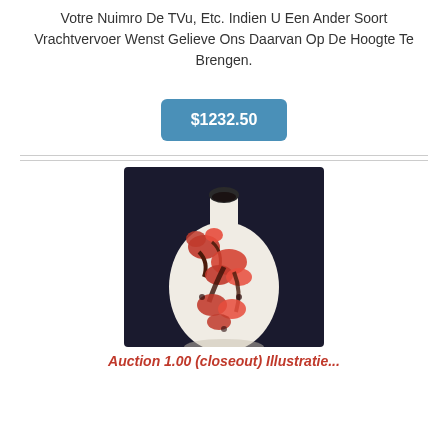Votre Nuimro De TVu, Etc. Indien U Een Ander Soort Vrachtvervoer Wenst Gelieve Ons Daarvan Op De Hoogte Te Brengen.
$1232.50
[Figure (photo): A ceramic vase with red floral (poppy) pattern on white background, photographed against a dark background.]
Auction 1.00 (closeout) Illustratie...